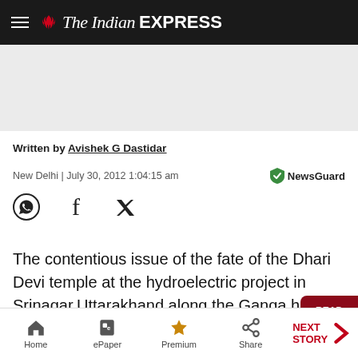The Indian EXPRESS
[Figure (other): Advertisement placeholder gray block]
Written by Avishek G Dastidar
New Delhi | July 30, 2012 1:04:15 am
[Figure (other): NewsGuard badge]
[Figure (other): Social share icons: WhatsApp, Facebook, Twitter]
The contentious issue of the fate of the Dhari Devi temple at the hydroelectric project in Srinagar,Uttarakhand,along the Ganga has reached the high-level panel led by Planning Commission member B K Chaturvedi,which had its first meeting last week on Thursday.
Home | ePaper | Premium | Share | NEXT STORY